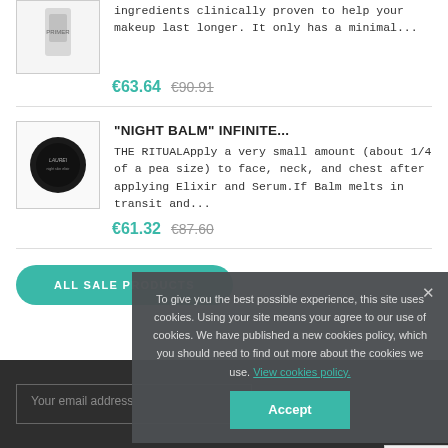ingredients clinically proven to help your makeup last longer. It only has a minimal...
€63.64  €90.91
"NIGHT BALM" INFINITE...
THE RITUALApply a very small amount (about 1/4 of a pea size) to face, neck, and chest after applying Elixir and Serum.If Balm melts in transit and...
€61.32  €87.60
ALL SALE PRODUCTS
To give you the best possible experience, this site uses cookies. Using your site means your agree to our use of cookies. We have published a new cookies policy, which you should need to find out more about the cookies we use. View cookies policy.
Accept
Your email address